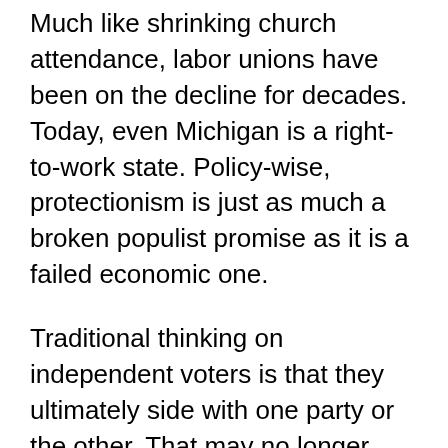Much like shrinking church attendance, labor unions have been on the decline for decades. Today, even Michigan is a right-to-work state. Policy-wise, protectionism is just as much a broken populist promise as it is a failed economic one.
Traditional thinking on independent voters is that they ultimately side with one party or the other. That may no longer hold true.  The number of so-called independents is on the rise; increasing extremism in both major parties has alienated voters.
Late July will bring the political conventions. The Republicans will convene in Cleveland, followed a few days later by the Democrats in